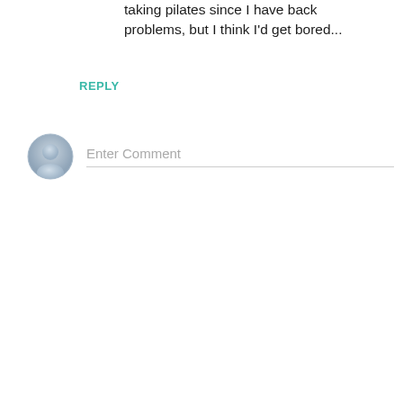taking pilates since I have back problems, but I think I'd get bored...
REPLY
[Figure (illustration): Generic user avatar icon — a grey silhouette of a person in a circular frame]
Enter Comment